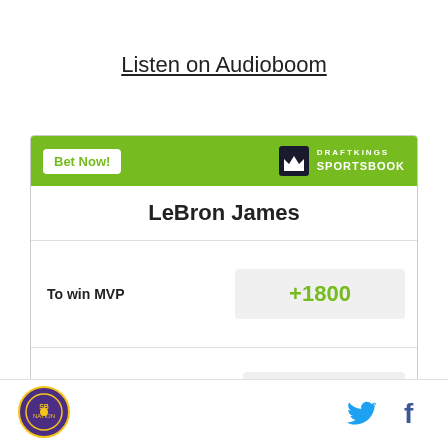Listen on Audioboom
| LeBron James |  |
| To win MVP | +1800 |
| To win Defensive Player of the Year | +60000 |
[Figure (logo): SB Nation site logo circular badge]
[Figure (logo): Twitter bird icon]
[Figure (logo): Facebook f icon]